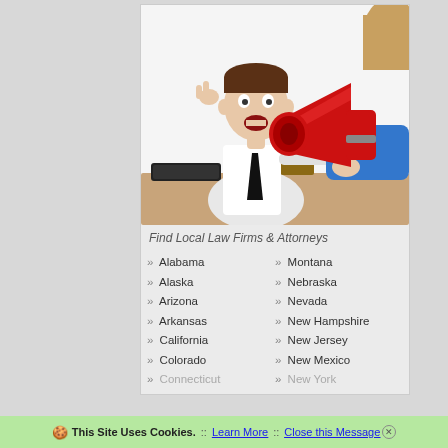[Figure (photo): A man in a white shirt and black tie with hands raised to his ears reacting dramatically, while a woman in a blue top points a large red megaphone at him. Books and a keyboard visible on a desk in the background. White background.]
Find Local Law Firms & Attorneys
» Alabama
» Alaska
» Arizona
» Arkansas
» California
» Colorado
» Connecticut
» Montana
» Nebraska
» Nevada
» New Hampshire
» New Jersey
» New Mexico
» New York
🍪 This Site Uses Cookies.  ::  Learn More  ::  Close this Message ⊗